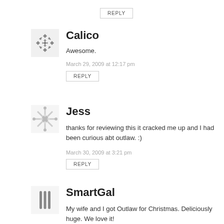REPLY
Calico
Awesome.
March 29, 2009 at 12:17 pm
REPLY
Jess
thanks for reviewing this it cracked me up and I had been curious abt outlaw. :)
March 30, 2009 at 3:21 pm
REPLY
SmartGal
My wife and I got Outlaw for Christmas. Deliciously huge. We love it!